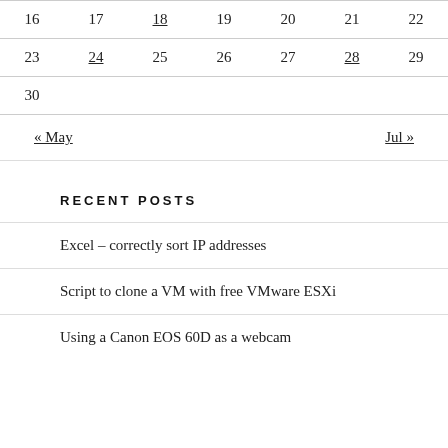| Sun | Mon | Tue | Wed | Thu | Fri | Sat |
| --- | --- | --- | --- | --- | --- | --- |
| 16 | 17 | 18 | 19 | 20 | 21 | 22 |
| 23 | 24 | 25 | 26 | 27 | 28 | 29 |
| 30 |  |  |  |  |  |  |
« May    Jul »
RECENT POSTS
Excel – correctly sort IP addresses
Script to clone a VM with free VMware ESXi
Using a Canon EOS 60D as a webcam